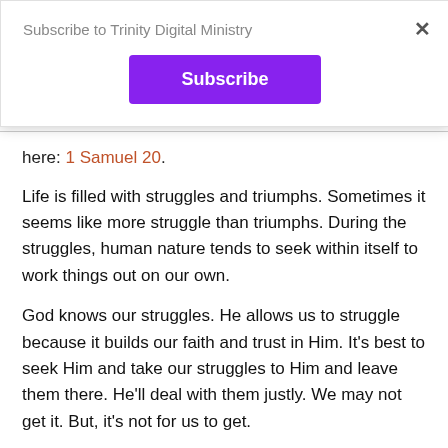Subscribe to Trinity Digital Ministry
[Figure (other): Subscribe button — purple rectangular button with white bold text 'Subscribe']
here: 1 Samuel 20.
Life is filled with struggles and triumphs. Sometimes it seems like more struggle than triumphs. During the struggles, human nature tends to seek within itself to work things out on our own.
God knows our struggles. He allows us to struggle because it builds our faith and trust in Him. It's best to seek Him and take our struggles to Him and leave them there. He'll deal with them justly. We may not get it. But, it's not for us to get.
How does this apply to our lives today? How do we apply it